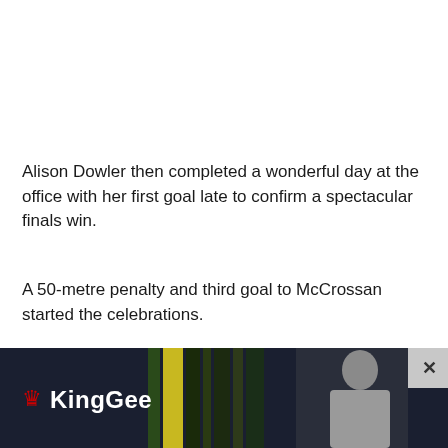Alison Dowler then completed a wonderful day at the office with her first goal late to confirm a spectacular finals win.
A 50-metre penalty and third goal to McCrossan started the celebrations.
Mercoulia praised his players for the maturity they showed in grinding out the do-or-die win.
“The reality is for us with this group we’re two years in so they’ll continue to learn and develop,” Mercoulia said. “They
[Figure (other): KingGee advertisement banner with logo (crown icon and KingGee text in white on dark background) and a person in grey clothing on the right side, with a close button (X) in the top-right corner]